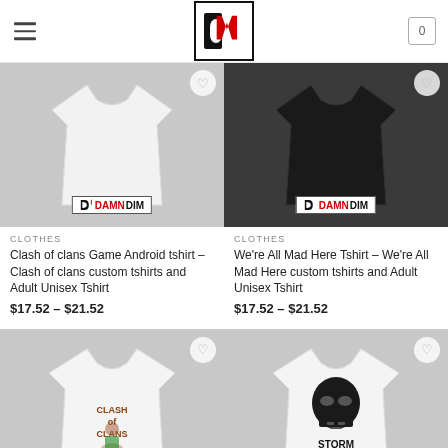DamnDim store header with logo and cart
[Figure (photo): White t-shirt product photo with DAMNDIM brand watermark on light gray background]
CLOTHES
Clash of clans Game Android tshirt – Clash of clans custom tshirts and Adult Unisex Tshirt
$17.52 – $21.52
[Figure (photo): Black t-shirt product photo with DAMNDIM brand watermark on dark gray background]
CLOTHES
We're All Mad Here Tshirt – We're All Mad Here custom tshirts and Adult Unisex Tshirt
$17.52 – $21.52
[Figure (photo): White t-shirt with Clash of Clans character (archer queen) graphic print]
[Figure (photo): White t-shirt with Storm Trooper helmet and STORM POOPER text graphic print]